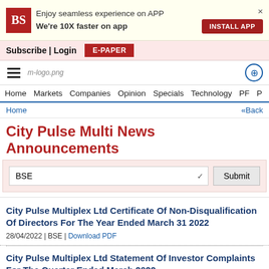Enjoy seamless experience on APP
We're 10X faster on app
INSTALL APP
Subscribe | Login  E-PAPER
Home  Markets  Companies  Opinion  Specials  Technology  PF  P
Home  «Back
City Pulse Multi News Announcements
BSE  Submit
City Pulse Multiplex Ltd Certificate Of Non-Disqualification Of Directors For The Year Ended March 31 2022
28/04/2022 | BSE | Download PDF
City Pulse Multiplex Ltd Statement Of Investor Complaints For The Quarter Ended March 2022